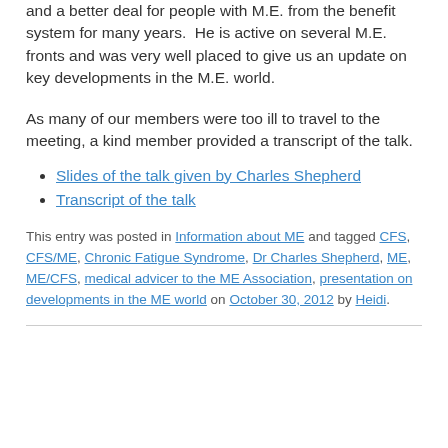and a better deal for people with M.E. from the benefit system for many years.  He is active on several M.E. fronts and was very well placed to give us an update on key developments in the M.E. world.
As many of our members were too ill to travel to the meeting, a kind member provided a transcript of the talk.
Slides of the talk given by Charles Shepherd
Transcript of the talk
This entry was posted in Information about ME and tagged CFS, CFS/ME, Chronic Fatigue Syndrome, Dr Charles Shepherd, ME, ME/CFS, medical advicer to the ME Association, presentation on developments in the ME world on October 30, 2012 by Heidi.